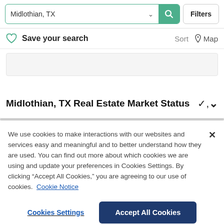[Figure (screenshot): Search bar with 'Midlothian, TX' text, green search button with magnifying glass icon, and 'Filters' button]
Save your search
Sort   Map
[Figure (other): Partially visible property listing card placeholder]
Midlothian, TX Real Estate Market Status
We use cookies to make interactions with our websites and services easy and meaningful and to better understand how they are used. You can find out more about which cookies we are using and update your preferences in Cookies Settings. By clicking “Accept All Cookies,” you are agreeing to our use of cookies.  Cookie Notice
Cookies Settings
Accept All Cookies